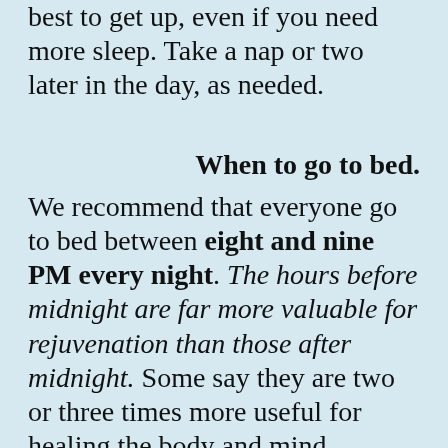best to get up, even if you need more sleep. Take a nap or two later in the day, as needed.
When to go to bed.
We recommend that everyone go to bed between eight and nine PM every night. The hours before midnight are far more valuable for rejuvenation than those after midnight. Some say they are two or three times more useful for healing the body and mind. The hours after midnight are less conducive because the energy of the